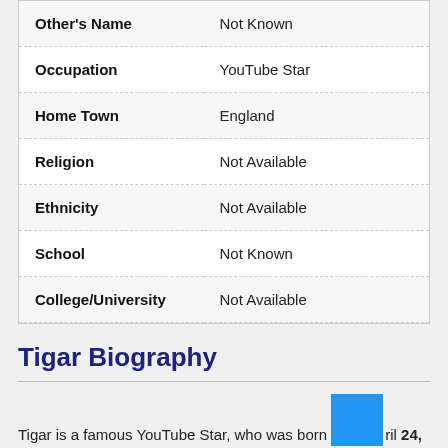| Field | Value |
| --- | --- |
| Other's Name | Not Known |
| Occupation | YouTube Star |
| Home Town | England |
| Religion | Not Available |
| Ethnicity | Not Available |
| School | Not Known |
| College/University | Not Available |
Tigar Biography
Tigar is a famous YouTube Star, who was born April 24, 2002 in United Kingdom.